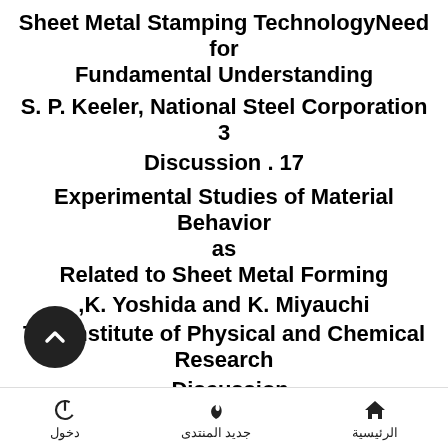Sheet Metal Stamping TechnologyNeed for Fundamental Understanding
S. P. Keeler, National Steel Corporation 3
Discussion . 17
Experimental Studies of Material Behavior as Related to Sheet Metal Forming
,K. Yoshida and K. Miyauchi
The Institute of Physical and Chemical Research
. Discussion
Plasticity Analysis of Sheet Metal Forming
P. B. Mellor and A. Parmar, University of Bradford
. Discussion
SESSION II- Constitutive Relations for Sheet
دخول   جديد المنتدى   الرئيسية